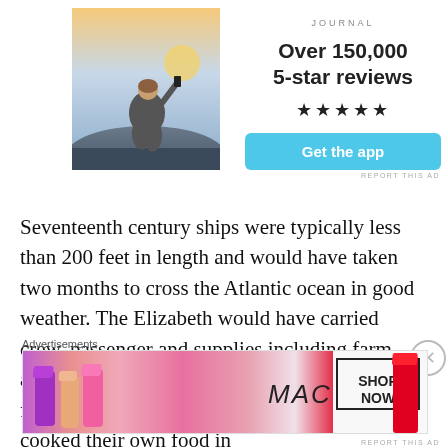[Figure (photo): Person sitting on rocks photographing sunset, seen from behind, wearing white t-shirt]
JOURNAL
Over 150,000 5-star reviews
★★★★★
Get the app
REPORT THIS AD
Seventeenth century ships were typically less than 200 feet in length and would have taken two months to cross the Atlantic ocean in good weather. The Elizabeth would have carried crew, passenger and supplies including farm animals, casks of fresh water and food needed for the crossing. Each family would have cooked their own food in
Advertisements
[Figure (photo): MAC cosmetics advertisement showing colorful lipsticks with MAC logo and SHOP NOW button]
REPORT THIS AD